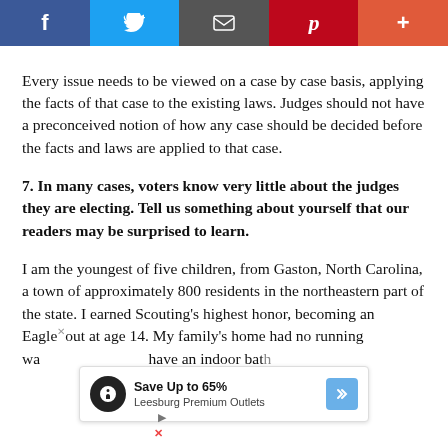[Figure (other): Social media share bar with Facebook, Twitter, email/share, Pinterest, and plus buttons]
Every issue needs to be viewed on a case by case basis, applying the facts of that case to the existing laws. Judges should not have a preconceived notion of how any case should be decided before the facts and laws are applied to that case.
7. In many cases, voters know very little about the judges they are electing. Tell us something about yourself that our readers may be surprised to learn.
I am the youngest of five children, from Gaston, North Carolina, a town of approximately 800 residents in the northeastern part of the state. I earned Scouting's highest honor, becoming an Eagle out at age 14. My family's home had no running wa... have an indoor bath...
[Figure (other): Advertisement overlay: Save Up to 65% Leesburg Premium Outlets with navigation icon]